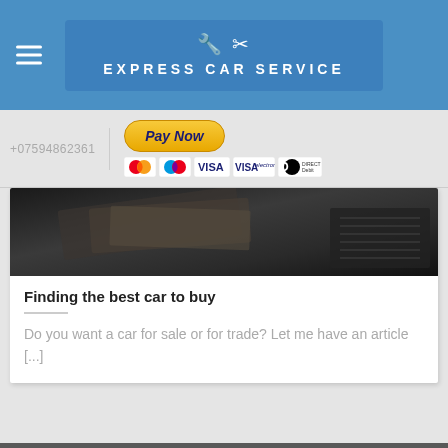EXPRESS CAR SERVICE
+07594862361
[Figure (screenshot): Pay Now button with payment card icons: MasterCard, Maestro, VISA, VISA Electron, Direct Debit]
[Figure (photo): Dark photo showing car interior with papers/documents]
Finding the best car to buy
Do you want a car for sale or for trade? Let me have an article [...]
PROFESSIONAL BMW REPAIR